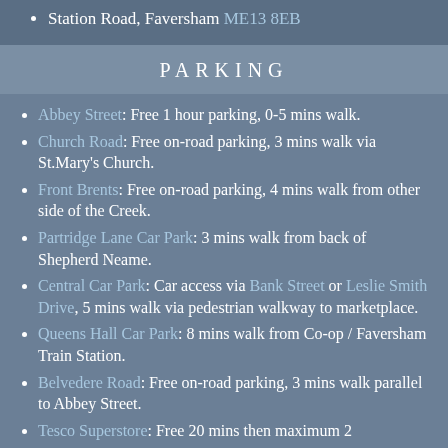Station Road, Faversham ME13 8EB
PARKING
Abbey Street: Free 1 hour parking, 0-5 mins walk.
Church Road: Free on-road parking, 3 mins walk via St.Mary's Church.
Front Brents: Free on-road parking, 4 mins walk from other side of the Creek.
Partridge Lane Car Park: 3 mins walk from back of Shepherd Neame.
Central Car Park: Car access via Bank Street or Leslie Smith Drive, 5 mins walk via pedestrian walkway to marketplace.
Queens Hall Car Park: 8 mins walk from Co-op / Faversham Train Station.
Belvedere Road: Free on-road parking, 3 mins walk parallel to Abbey Street.
Tesco Superstore: Free 20 mins then maximum 2